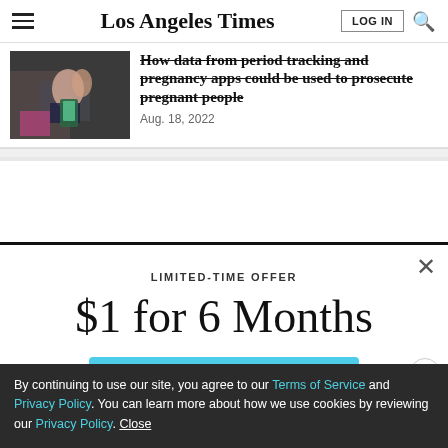Los Angeles Times
How data from period tracking and pregnancy apps could be used to prosecute pregnant people
Aug. 18, 2022
LIMITED-TIME OFFER
$1 for 6 Months
SUBSCRIBE NOW
By continuing to use our site, you agree to our Terms of Service and Privacy Policy. You can learn more about how we use cookies by reviewing our Privacy Policy. Close